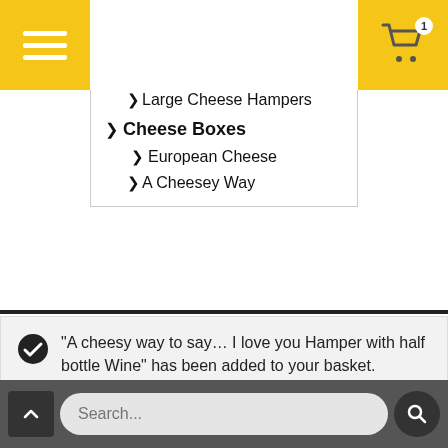Navigation menu with hamburger icon and cart button (1 item)
> Cheese Gift Sets
> heese Hampers
> Small Cheese Hampers
> Large Cheese Hampers
> Cheese Boxes
> European Cheese
> A Cheesey Way
"A cheesy way to say… I love you Hamper with half bottle Wine" has been added to your basket.
View basket
Search...